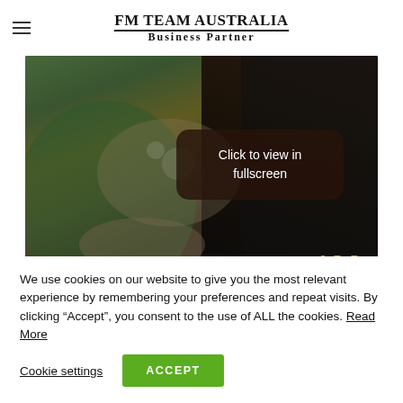FM TEAM AUSTRALIA Business Partner
[Figure (photo): A woman wearing ornate jewelry including necklaces and bracelets, with a dark background. An overlay button reads 'Click to view in fullscreen'. Text 'ALI' is visible in gold at bottom right.]
We use cookies on our website to give you the most relevant experience by remembering your preferences and repeat visits. By clicking “Accept”, you consent to the use of ALL the cookies. Read More
Cookie settings
ACCEPT